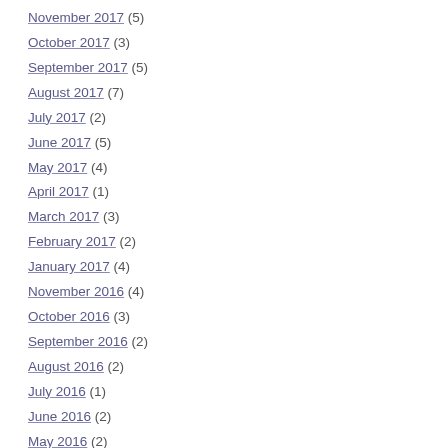November 2017 (5)
October 2017 (3)
September 2017 (5)
August 2017 (7)
July 2017 (2)
June 2017 (5)
May 2017 (4)
April 2017 (1)
March 2017 (3)
February 2017 (2)
January 2017 (4)
November 2016 (4)
October 2016 (3)
September 2016 (2)
August 2016 (2)
July 2016 (1)
June 2016 (2)
May 2016 (2)
April 2016 (3)